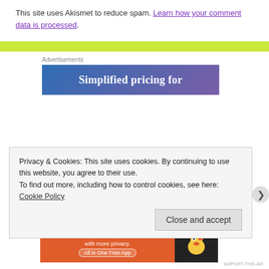This site uses Akismet to reduce spam. Learn how your comment data is processed.
[Figure (other): Lime green horizontal bar divider]
Advertisements
[Figure (other): Advertisement banner: Simplified pricing for]
Privacy & Cookies: This site uses cookies. By continuing to use this website, you agree to their use.
To find out more, including how to control cookies, see here: Cookie Policy
Close and accept
Advertisements
[Figure (other): DuckDuckGo advertisement: Search, browse, and email with more privacy. All in One Free App]